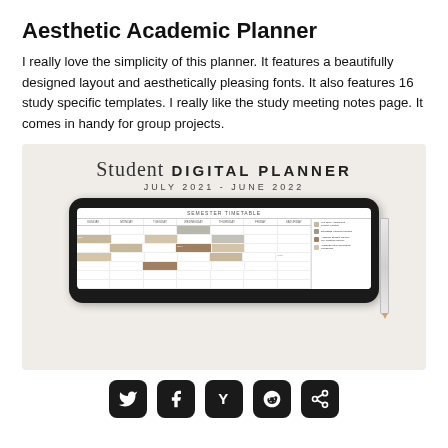Aesthetic Academic Planner
I really love the simplicity of this planner. It features a beautifully designed layout and aesthetically pleasing fonts. It also features 16 study specific templates. I really like the study meeting notes page. It comes in handy for group projects.
[Figure (screenshot): Screenshot of a Student Digital Planner product image showing a tablet with a semester timetable, set against a beige background. The planner header reads 'Student DIGITAL PLANNER JULY 2021 - JUNE 2022'. The tablet screen shows a semester timetable with colored blocks representing scheduled classes/events.]
[Figure (infographic): Row of five social sharing icons (Twitter, Facebook, Y/Hacker News, Reddit, Share) displayed as white icons on black rounded-square backgrounds.]